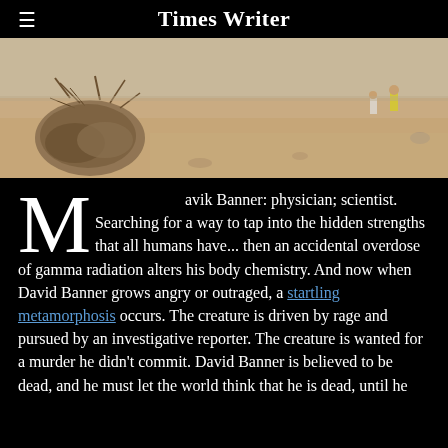Times Writer
[Figure (photo): Outdoor desert scene with dry vegetation and sandy ground, people visible in background]
Mavik Banner: physician; scientist. Searching for a way to tap into the hidden strengths that all humans have... then an accidental overdose of gamma radiation alters his body chemistry. And now when David Banner grows angry or outraged, a startling metamorphosis occurs. The creature is driven by rage and pursued by an investigative reporter. The creature is wanted for a murder he didn't commit. David Banner is believed to be dead, and he must let the world think that he is dead, until he